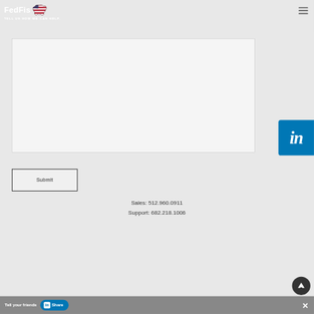FedFis — TELL US HOW WE CAN HELP.
[Figure (other): Empty text area input box with border]
Submit
Sales: 512.960.0911
Support: 682.218.1006
[Figure (logo): LinkedIn badge icon (in) blue square]
Tell your friends  in  Share
[Figure (other): Scroll-to-top circular button]
[Figure (logo): FedFis bison logo with American flag pattern]